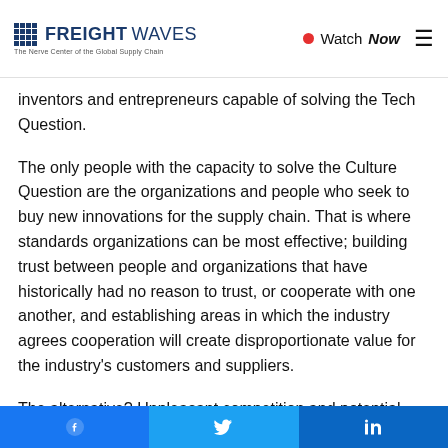FREIGHTWAVES — The Nerve Center of the Global Supply Chain | Watch Now
inventors and entrepreneurs capable of solving the Tech Question.
The only people with the capacity to solve the Culture Question are the organizations and people who seek to buy new innovations for the supply chain. That is where standards organizations can be most effective; building trust between people and organizations that have historically had no reason to trust, or cooperate with one another, and establishing areas in which the industry agrees cooperation will create disproportionate value for the industry's customers and suppliers.
The alternative? Unpleasant competition and potential
Facebook | Twitter | LinkedIn